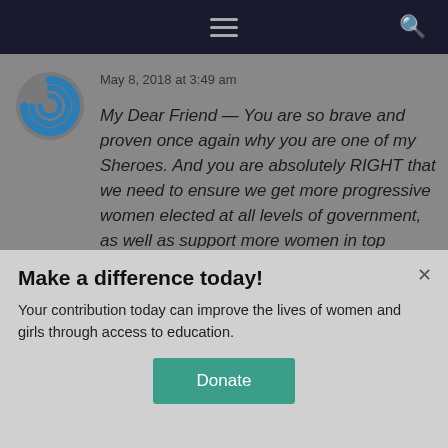Navigation bar with hamburger menu and search icon
[Figure (logo): Circular blue swirl logo icon]
May 8, 2018 at 3:49 am
My Dear Friend — You are so brave and proven once again why you are one of my Sheroes. And you are absolutely RIGHT that we need to ensure we get more progressive women elected at all levels of government, as well as support more women in top leadership positions in the private sector. Until we reach a level of equality, I am
Make a difference today!
Your contribution today can improve the lives of women and girls through access to education.
Donate